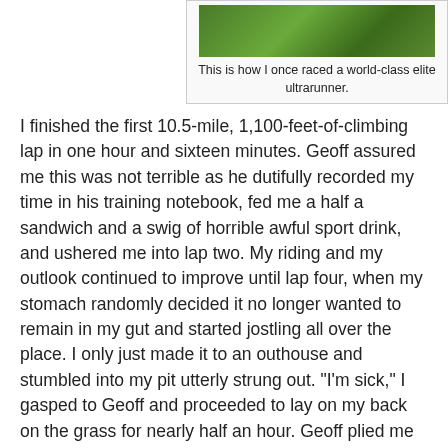[Figure (photo): A photo of green grass/foliage outdoors]
This is how I once raced a world-class elite ultrarunner.
I finished the first 10.5-mile, 1,100-feet-of-climbing lap in one hour and sixteen minutes. Geoff assured me this was not terrible as he dutifully recorded my time in his training notebook, fed me a half a sandwich and a swig of horrible awful sport drink, and ushered me into lap two. My riding and my outlook continued to improve until lap four, when my stomach randomly decided it no longer wanted to remain in my gut and started jostling all over the place. I only just made it to an outhouse and stumbled into my pit utterly strung out. "I'm sick," I gasped to Geoff and proceeded to lay on my back on the grass for nearly half an hour. Geoff plied me with food and drink but I couldn't ingest anything. "My stomach is churning," I whined. "And my back hurts. And my arms hurt."
Geoff, who was looking to get a run in anyway, tried to coax me back out by offering to "race" me for a lap — with him on foot and me on my bike. That sounded like an awfully unfair race to me, so after he suited up and headed out I continued